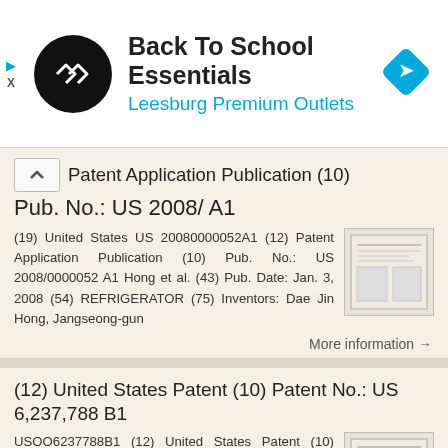[Figure (other): Advertisement banner: Back To School Essentials, Leesburg Premium Outlets, with circular logo and diamond navigation icon]
Patent Application Publication (10) Pub. No.: US 2008/ A1
(19) United States US 20080000052A1 (12) Patent Application Publication (10) Pub. No.: US 2008/0000052 A1 Hong et al. (43) Pub. Date: Jan. 3, 2008 (54) REFRIGERATOR (75) Inventors: Dae Jin Hong, Jangseong-gun
More information →
(12) United States Patent (10) Patent No.: US 6,237,788 B1
USOO6237788B1 (12) United States Patent (10) Patent No.: US 6,237,788 B1 Shuen (45) Date of Patent: May 29, 2001 (54)